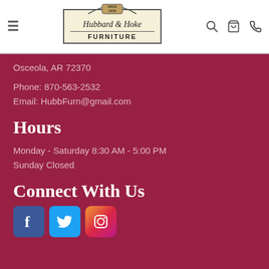[Figure (logo): Hubbard & Hoke Furniture logo with arch, established since 1916, cream background with border]
Osceola, AR 72370
Phone: 870-563-2532
Email: HubbFurn@gmail.com
Hours
Monday - Saturday 8:30 AM - 5:00 PM
Sunday Closed
Connect With Us
[Figure (illustration): Social media icons: Facebook, Twitter, Instagram]